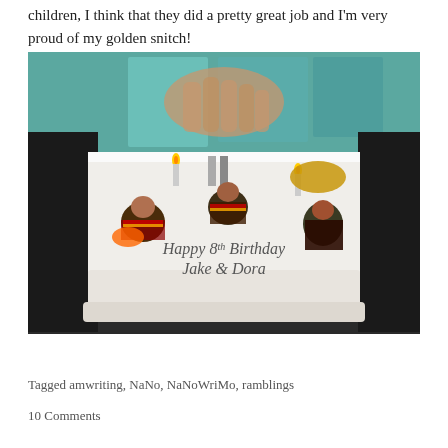children, I think that they did a pretty great job and I'm very proud of my golden snitch!
[Figure (photo): A birthday cake with white frosting decorated with Harry Potter figurines, candles, and the text 'Happy 8th Birthday Jake & Dora' written on it. A hand is visible reaching over the cake. The cake sits on a table with teal wrapping paper in the background.]
Tagged amwriting, NaNo, NaNoWriMo, ramblings
10 Comments